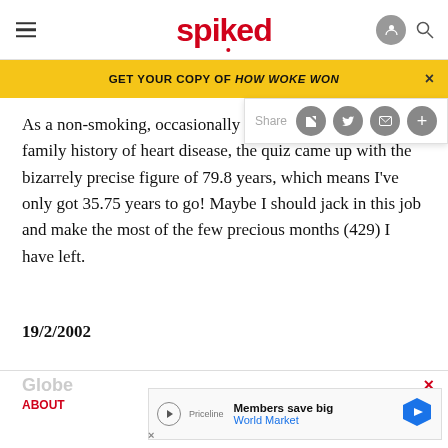spiked
GET YOUR COPY OF HOW WOKE WON
As a non-smoking, occasionally exercising male with a family history of heart disease, the quiz came up with the bizarrely precise figure of 79.8 years, which means I've only got 35.75 years to go! Maybe I should jack in this job and make the most of the few precious months (429) I have left.
19/2/2002
Globe  ABOUT